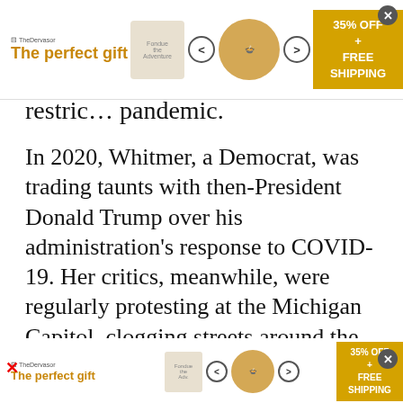[Figure (other): Advertisement banner at top: 'The perfect gift' with food bowl images, navigation arrows, and 35% OFF + FREE SHIPPING promo. Close button (x) on right.]
restric… pandemic.
In 2020, Whitmer, a Democrat, was trading taunts with then-President Donald Trump over his administration's response to COVID-19. Her critics, meanwhile, were regularly protesting at the Michigan Capitol, clogging streets around the statehouse and legally carrying semi-automatic rifles into the building.
During that turbulent time, Adam Fox, Brandon Caserta, Barry Croft Jr. and Daniel Harris were plotting to snatch Whitmer, prosecutors say. They're
[Figure (other): Advertisement banner at bottom: 'The perfect gift' with food bowl images, navigation arrows, and 35% OFF + FREE SHIPPING promo. X close button on left.]